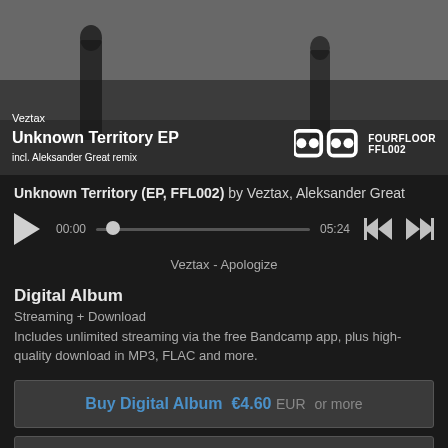[Figure (photo): Black and white photo of two people walking, album artwork for Unknown Territory EP by Veztax]
Unknown Territory (EP, FFL002) by Veztax, Aleksander Great
[Figure (infographic): Audio player with play button, scrubber at 00:00, total time 05:24, skip back and skip forward controls]
Veztax - Apologize
Digital Album
Streaming + Download
Includes unlimited streaming via the free Bandcamp app, plus high-quality download in MP3, FLAC and more.
Buy Digital Album €4.60 EUR or more
Send as Gift